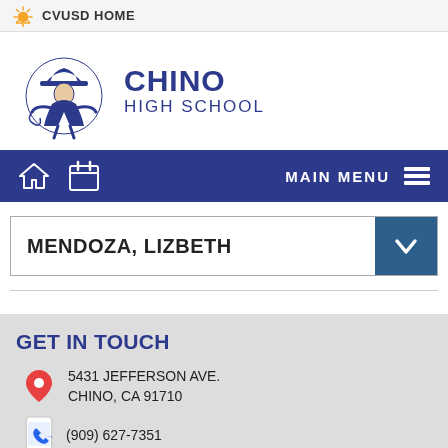CVUSD HOME
CHINO HIGH SCHOOL
MAIN MENU
MENDOZA, LIZBETH
GET IN TOUCH
5431 JEFFERSON AVE.
CHINO, CA 91710
(909) 627-7351